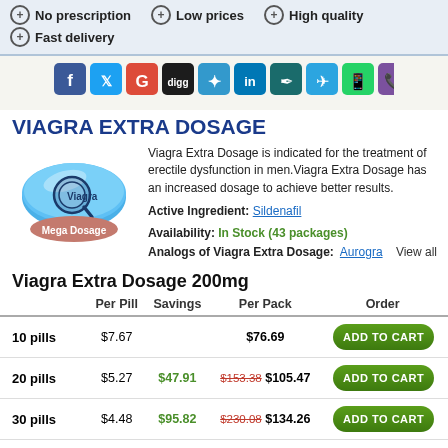No prescription
Low prices
High quality
Fast delivery
[Figure (infographic): Social media sharing icons: Facebook, Twitter, Google+, Digg, Delicious, LinkedIn, Pinterest, Telegram, WhatsApp, Viber]
VIAGRA EXTRA DOSAGE
[Figure (photo): Blue pill with magnifying glass overlay and Mega Dosage label]
Viagra Extra Dosage is indicated for the treatment of erectile dysfunction in men. Viagra Extra Dosage has an increased dosage to achieve better results.
Active Ingredient: Sildenafil
Availability: In Stock (43 packages)
Analogs of Viagra Extra Dosage: Aurogra   View all
Viagra Extra Dosage 200mg
|  | Per Pill | Savings | Per Pack | Order |
| --- | --- | --- | --- | --- |
| 10 pills | $7.67 |  | $76.69 | ADD TO CART |
| 20 pills | $5.27 | $47.91 | $153.38 $105.47 | ADD TO CART |
| 30 pills | $4.48 | $95.82 | $230.08 $134.26 | ADD TO CART |